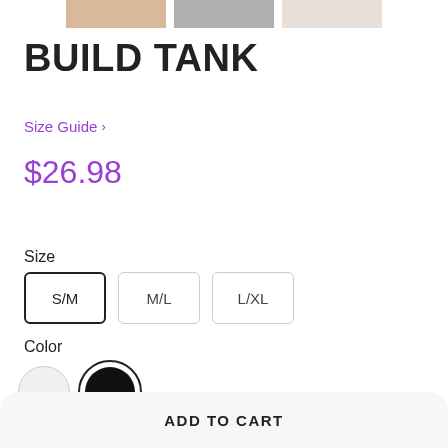[Figure (photo): Three product thumbnail images showing the Build Tank in different colors/models at the top of the page]
BUILD TANK
Size Guide >
$26.98
Size
S/M  M/L  L/XL
Color
[Figure (illustration): Two color swatches: white/light gray circle and black circle with dark border (selected)]
ADD TO CART